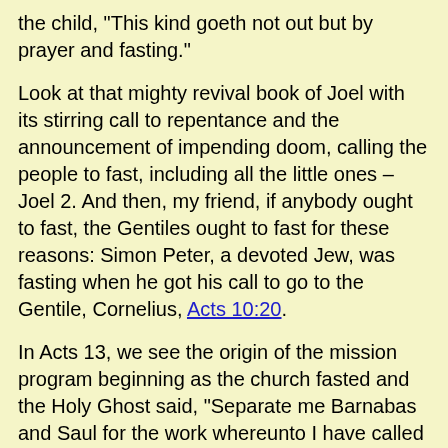the child, "This kind goeth not out but by prayer and fasting."
Look at that mighty revival book of Joel with its stirring call to repentance and the announcement of impending doom, calling the people to fast, including all the little ones – Joel 2. And then, my friend, if anybody ought to fast, the Gentiles ought to fast for these reasons: Simon Peter, a devoted Jew, was fasting when he got his call to go to the Gentile, Cornelius, Acts 10:20.
In Acts 13, we see the origin of the mission program beginning as the church fasted and the Holy Ghost said, "Separate me Barnabas and Saul for the work whereunto I have called them." And as you know, Paul became the missionary to the Gentiles and magnified his office. Paul and the mariners, as recorded in Acts 27, fasted fourteen days. It was then that the angels stood by them in the night, saying, "Fear not, Paul . . . God hath given thee all them that sail with thee." And Paul said, "Be of good cheer: for I believe God, that it shall be even as it was told me." Fasting will help to carry you through the storm when it is linked with believing